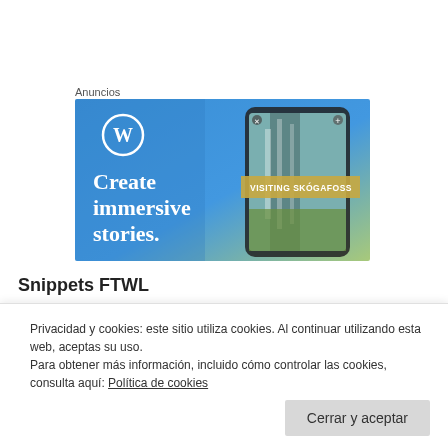Anuncios
[Figure (illustration): WordPress advertisement banner with blue gradient background. Shows WordPress logo (white circle with W), text 'Create immersive stories.' in white, and a smartphone showing a travel story 'VISITING SKÓGAFOSS' with a waterfall image.]
Snippets FTWL
Privacidad y cookies: este sitio utiliza cookies. Al continuar utilizando esta web, aceptas su uso.
Para obtener más información, incluido cómo controlar las cookies, consulta aquí: Política de cookies
Cerrar y aceptar